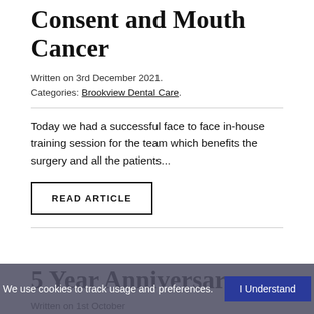Consent and Mouth Cancer
Written on 3rd December 2021.
Categories: Brookview Dental Care.
Today we had a successful face to face in-house training session for the team which benefits the surgery and all the patients...
READ ARTICLE
5 Year Anniversary
Written on 1st October
Categories: Brookview Dental Care.
We use cookies to track usage and preferences.